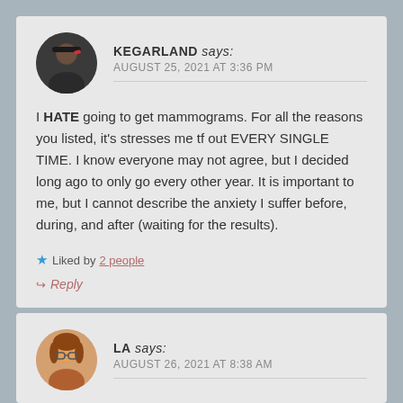KEGARLAND says: AUGUST 25, 2021 AT 3:36 PM
I HATE going to get mammograms. For all the reasons you listed, it's stresses me tf out EVERY SINGLE TIME. I know everyone may not agree, but I decided long ago to only go every other year. It is important to me, but I cannot describe the anxiety I suffer before, during, and after (waiting for the results).
Liked by 2 people
Reply
LA says: AUGUST 26, 2021 AT 8:38 AM